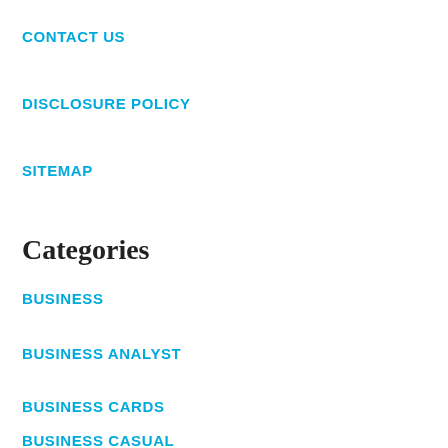CONTACT US
DISCLOSURE POLICY
SITEMAP
Categories
BUSINESS
BUSINESS ANALYST
BUSINESS CARDS
BUSINESS CASUAL